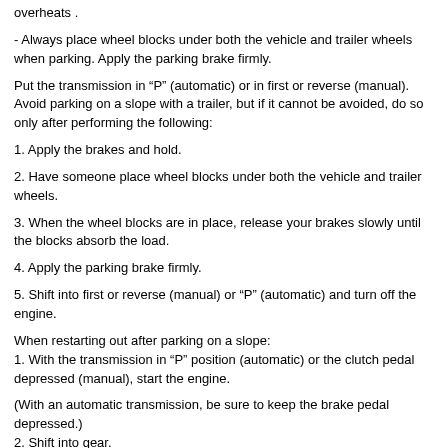overheats .
- Always place wheel blocks under both the vehicle and trailer wheels when parking. Apply the parking brake firmly.
Put the transmission in “P” (automatic) or in first or reverse (manual). Avoid parking on a slope with a trailer, but if it cannot be avoided, do so only after performing the following:
1. Apply the brakes and hold.
2. Have someone place wheel blocks under both the vehicle and trailer wheels.
3. When the wheel blocks are in place, release your brakes slowly until the blocks absorb the load.
4. Apply the parking brake firmly.
5. Shift into first or reverse (manual) or “P” (automatic) and turn off the engine.
When restarting out after parking on a slope:
1. With the transmission in “P” position (automatic) or the clutch pedal depressed (manual), start the engine.
(With an automatic transmission, be sure to keep the brake pedal depressed.)
2. Shift into gear.
3. Release the parking brake (also foot brake on automatic transmission vehicles) and slowly pull or back away from the wheel blocks. Stop and